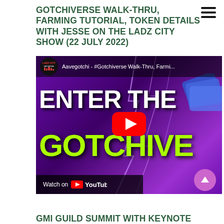GOTCHIVERSE WALK-THRU, FARMING TUTORIAL, TOKEN DETAILS WITH JESSE ON THE LADZ CITY SHOW (22 JULY 2022)
[Figure (screenshot): YouTube video thumbnail showing 'Aavegotchi - #Gotchiverse Walk-Thru, Farming...' with text 'ENTER THE GOTCHIVE' on a purple lightning background, Ladz City Network logo, YouTube play button, and 'Watch on YouTube' bar at bottom]
GMI GUILD SUMMIT WITH KEYNOTE